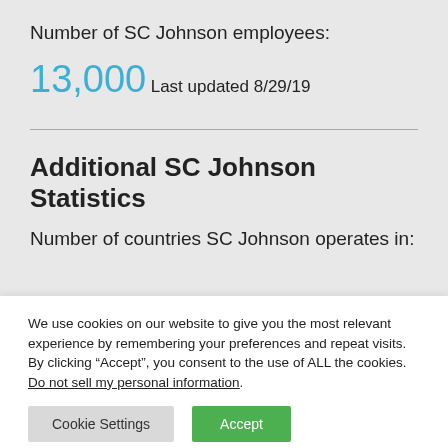Number of SC Johnson employees:
13,000
Last updated 8/29/19
Additional SC Johnson Statistics
Number of countries SC Johnson operates in:
We use cookies on our website to give you the most relevant experience by remembering your preferences and repeat visits. By clicking “Accept”, you consent to the use of ALL the cookies. Do not sell my personal information.